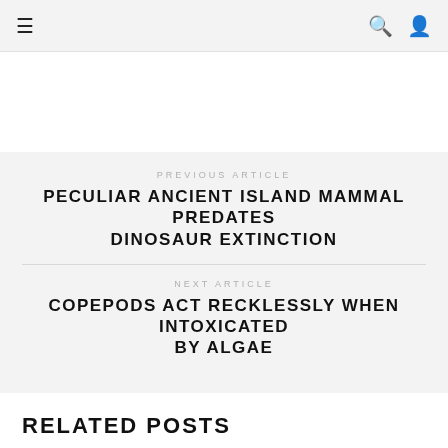☰  🔍 👤
PREVIOUS ARTICLE
PECULIAR ANCIENT ISLAND MAMMAL PREDATES DINOSAUR EXTINCTION
NEXT ARTICLE
COPEPODS ACT RECKLESSLY WHEN INTOXICATED BY ALGAE
RELATED POSTS